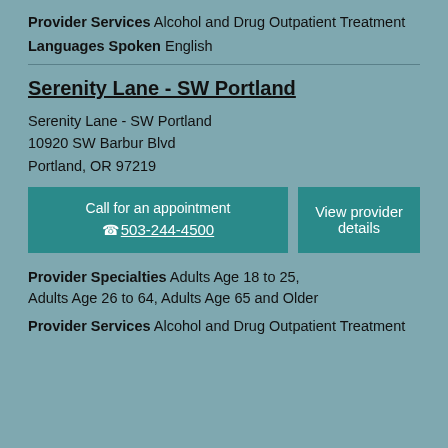Provider Services Alcohol and Drug Outpatient Treatment
Languages Spoken English
Serenity Lane - SW Portland
Serenity Lane - SW Portland
10920 SW Barbur Blvd
Portland, OR 97219
Call for an appointment 503-244-4500
View provider details
Provider Specialties Adults Age 18 to 25, Adults Age 26 to 64, Adults Age 65 and Older
Provider Services Alcohol and Drug Outpatient Treatment